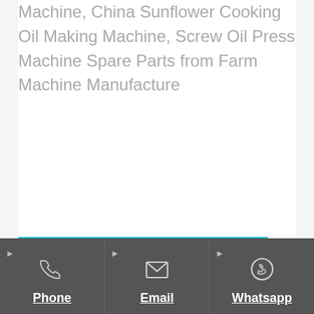Machine, China Sunflower Cooking Oil Making Machine, Screw Oil Press Machine Spare Parts from Farm Machine Manufacture
Send Inquiry
Phone | Email | Whatsapp